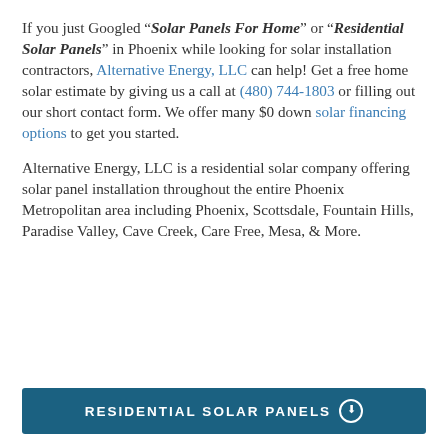If you just Googled "Solar Panels For Home" or "Residential Solar Panels" in Phoenix while looking for solar installation contractors, Alternative Energy, LLC can help! Get a free home solar estimate by giving us a call at (480) 744-1803 or filling out our short contact form. We offer many $0 down solar financing options to get you started.
Alternative Energy, LLC is a residential solar company offering solar panel installation throughout the entire Phoenix Metropolitan area including Phoenix, Scottsdale, Fountain Hills, Paradise Valley, Cave Creek, Care Free, Mesa, & More.
RESIDENTIAL SOLAR PANELS